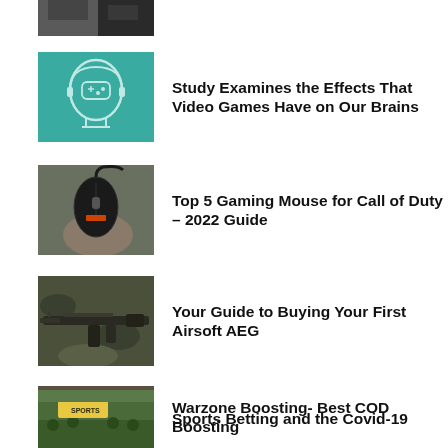[Figure (photo): Partially visible dark image thumbnail at top of page]
[Figure (illustration): Teal background with outline of human head containing a game controller icon]
Study Examines the Effects That Video Games Have on Our Brains
[Figure (photo): Hand holding a black gaming mouse with cable]
Top 5 Gaming Mouse for Call of Duty – 2022 Guide
[Figure (photo): Airsoft AEG rifle on camouflage background]
Your Guide to Buying Your First Airsoft AEG
[Figure (photo): Call of Duty Warzone gameplay scene with soldier]
Warzone Boosting- Best COD Boosting
[Figure (photo): Sports betting related image]
Sports Betting and the Covid-19